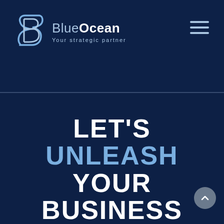[Figure (logo): BlueOcean company logo with stylized B icon and text 'BlueOcean Your strategic partner']
LET'S UNLEASH YOUR BUSINESS